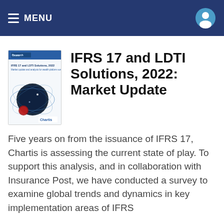≡ MENU
[Figure (illustration): Book cover of 'IFRS 17 and LDTI Solutions, 2022' report by Chartis, featuring dark blue/navy design with circular molecular/globe graphics in blue, white and red]
IFRS 17 and LDTI Solutions, 2022: Market Update
Five years on from the issuance of IFRS 17, Chartis is assessing the current state of play. To support this analysis, and in collaboration with Insurance Post, we have conducted a survey to examine global trends and dynamics in key implementation areas of IFRS